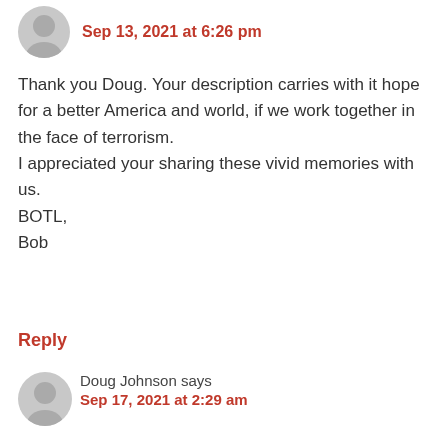Sep 13, 2021 at 6:26 pm
Thank you Doug. Your description carries with it hope for a better America and world, if we work together in the face of terrorism.
I appreciated your sharing these vivid memories with us.
BOTL,
Bob
Reply
Doug Johnson says
Sep 17, 2021 at 2:29 am